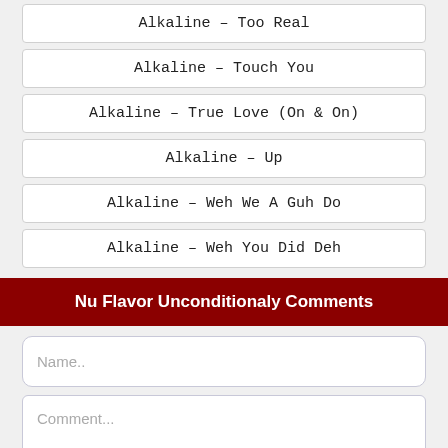Alkaline – Too Real
Alkaline – Touch You
Alkaline – True Love (On & On)
Alkaline – Up
Alkaline – Weh We A Guh Do
Alkaline – Weh You Did Deh
Nu Flavor Unconditionaly Comments
Name..
Comment...